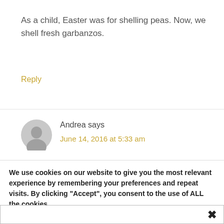As a child, Easter was for shelling peas. Now, we shell fresh garbanzos.
Reply
Andrea says
June 14, 2016 at 5:33 am
We use cookies on our website to give you the most relevant experience by remembering your preferences and repeat visits. By clicking “Accept”, you consent to the use of ALL the cookies.
Do not sell my personal information.
Cookie Settings
Accept